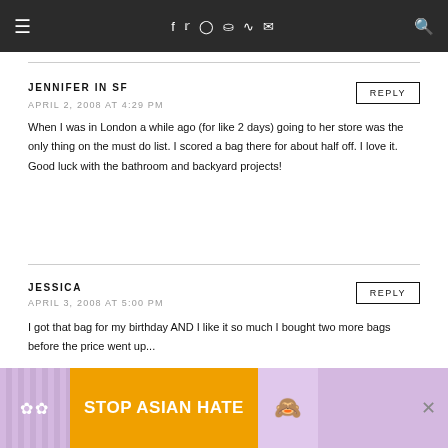≡  f  𝕏  ⊙  𝒫  ⌁  ✉  🔍
JENNIFER IN SF
APRIL 2, 2008 AT 4:29 PM
REPLY
When I was in London a while ago (for like 2 days) going to her store was the only thing on the must do list. I scored a bag there for about half off. I love it. Good luck with the bathroom and backyard projects!
JESSICA
APRIL 3, 2008 AT 5:00 PM
REPLY
[Figure (infographic): Stop Asian Hate advertisement banner with orange text on purple/floral background with anime character]